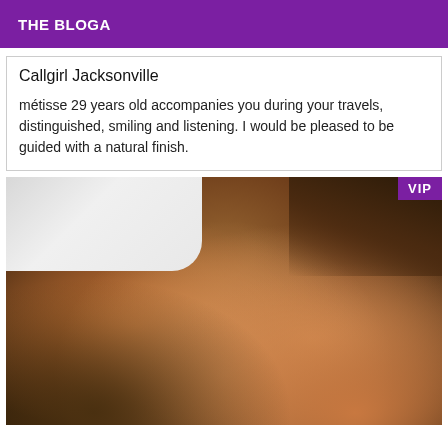THE BLOGA
Callgirl Jacksonville
métisse 29 years old accompanies you during your travels, distinguished, smiling and listening. I would be pleased to be guided with a natural finish.
[Figure (photo): Close-up photo of a person lying on a bed with white pillow visible in background, dark upper right corner, warm skin tones dominant in lower portion of image. VIP badge in upper right corner.]